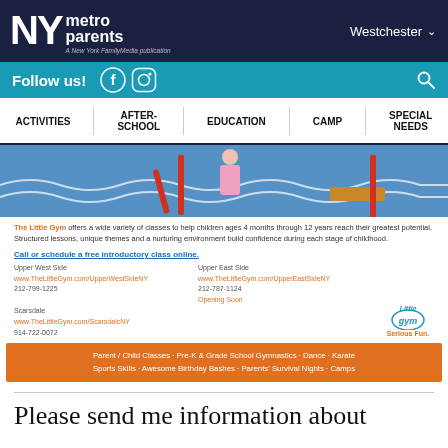NY metro parents — A New York FamilyMedia publication — Westchester
Follow us!
ACTIVITIES | AFTER-SCHOOL | EDUCATION | CAMP | SPECIAL NEEDS
[Figure (photo): Children on gym equipment with wave mural background at The Little Gym]
The Little Gym offers a wide variety of classes to help children ages 4 months through 12 years reach their greatest potential. Structured lessons, unique themes and a nurturing environment build confidence during each stage of childhood.
Call or schedule a free introductory class online.
Upper West Side
www.TheLittleGym.com/UpperWestSideNY
212-799-1225

Scarsdale
www.TheLittleGym.com/ScarsdalcNY
914-722-0072

Upper East Side
www.TheLittleGym.com/UpperEastSideNY
212-787-1124
Opening Soon
Parent / Child Classes · Pre-K & Grade School Gymnastics · Dance · Karate · Sports Skills · Awesome Birthday Bashes · Parents' Survival Nights · Camps
Please send me information about